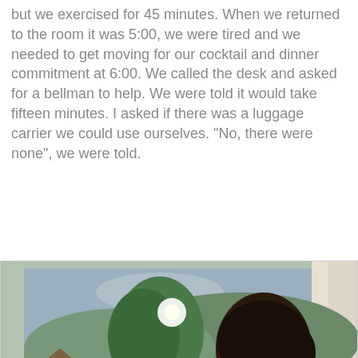but we exercised for 45 minutes. When we returned to the room it was 5:00, we were tired and we needed to get moving for our cocktail and dinner commitment at 6:00. We called the desk and asked for a bellman to help. We were told it would take fifteen minutes. I asked if there was a luggage carrier we could use ourselves. "No, there were none", we were told.
[Figure (photo): A young woman with dark hair pulled back, wearing a black top, standing in front of a window/balcony. Through the window/balcony railing, a suburban landscape is visible with trees, houses, and a yellow construction vehicle (backhoe/excavator) on the street. There are orange traffic cones visible. The woman has a tired or unhappy expression.]